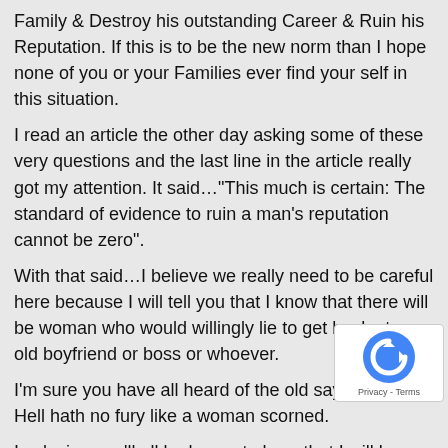Family & Destroy his outstanding Career & Ruin his Reputation. If this is to be the new norm than I hope none of you or your Families ever find your self in this situation.
I read an article the other day asking some of these very questions and the last line in the article really got my attention. It said…"This much is certain: The standard of evidence to ruin a man's reputation cannot be zero".
With that said…I believe we really need to be careful here because I will tell you that I know that there will be woman who would willingly lie to get back at an old boyfriend or boss or whoever.
I'm sure you have all heard of the old saying…
Hell hath no fury like a woman scorned.
In closing you'll all be happy to hear that I will be leaving this blog. You have all made it abundantly clear that my Family and I are not Welcome here. This blog is only for those Agree with and Praise the writer. So have at it !!!!
I will make a Prediction though….this woman will never